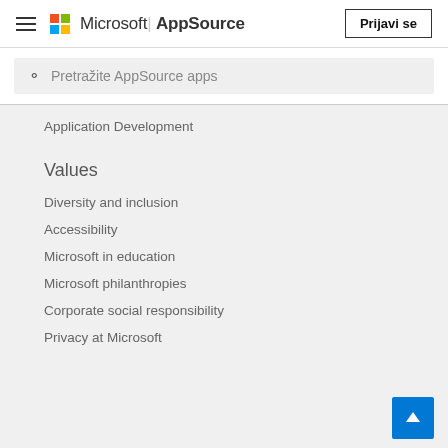Microsoft | AppSource   Prijavi se
Pretražite AppSource apps
Application Development
Values
Diversity and inclusion
Accessibility
Microsoft in education
Microsoft philanthropies
Corporate social responsibility
Privacy at Microsoft
Company